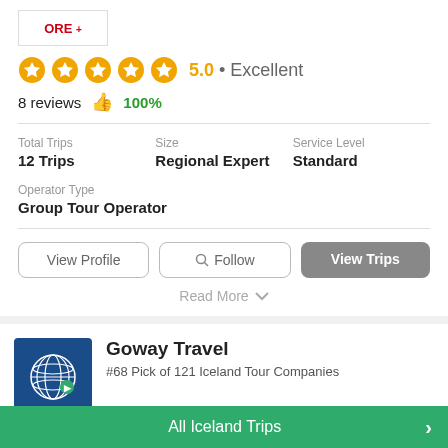[Figure (logo): Partial company logo with red text partially visible showing 'ORE']
5.0 • Excellent
8 reviews 👍 100%
Total Trips
12 Trips
Size
Regional Expert
Service Level
Standard
Operator Type
Group Tour Operator
View Profile
Follow
View Trips
Read More
Goway Travel
#68 Pick of 121 Iceland Tour Companies
All Iceland Trips